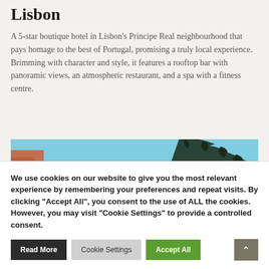Lisbon
A 5-star boutique hotel in Lisbon's Principe Real neighbourhood that pays homage to the best of Portugal, promising a truly local experience. Brimming with character and style, it features a rooftop bar with panoramic views, an atmospheric restaurant, and a spa with a fitness centre.
[Figure (photo): Partial photo of a building exterior with teal/blue sky and palm tree silhouette visible]
We use cookies on our website to give you the most relevant experience by remembering your preferences and repeat visits. By clicking "Accept All", you consent to the use of ALL the cookies. However, you may visit "Cookie Settings" to provide a controlled consent.